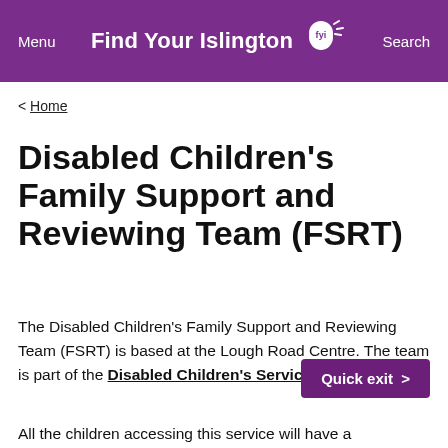Find Your Islington [FYI logo] Menu Search
< Home
Disabled Children's Family Support and Reviewing Team (FSRT)
The Disabled Children's Family Support and Reviewing Team (FSRT) is based at the Lough Road Centre. The team is part of the Disabled Children's Service (DCS).
All the children accessing this service will have a